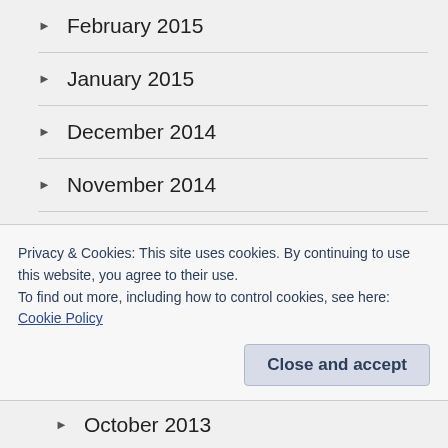February 2015
January 2015
December 2014
November 2014
October 2014
September 2014
August 2014
July 2014
Privacy & Cookies: This site uses cookies. By continuing to use this website, you agree to their use.
To find out more, including how to control cookies, see here: Cookie Policy
October 2013